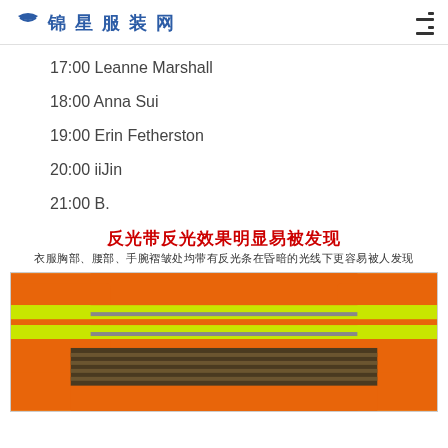锦星服装网
17:00 Leanne Marshall
18:00 Anna Sui
19:00 Erin Fetherston
20:00 iiJin
21:00 B.
反光带反光效果明显易被发现
衣服胸部、腰部、手腕褶皱处均带有反光条在昏暗的光线下更容易被人发现
[Figure (photo): Orange high-visibility safety workwear/uniform showing reflective strips (yellow-green and grey) across the torso area, with a dark multi-strap belt at the waist.]